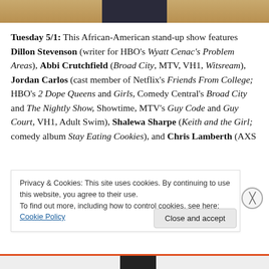[Figure (photo): Top strip showing partial photo of a person, warm background tones with dark clothing visible in center]
Tuesday 5/1: This African-American stand-up show features Dillon Stevenson (writer for HBO's Wyatt Cenac's Problem Areas), Abbi Crutchfield (Broad City, MTV, VH1, Witsream), Jordan Carlos (cast member of Netflix's Friends From College; HBO's 2 Dope Queens and Girls, Comedy Central's Broad City and The Nightly Show, Showtime, MTV's Guy Code and Guy Court, VH1, Adult Swim), Shalewa Sharpe (Keith and the Girl; comedy album Stay Eating Cookies), and Chris Lamberth (AXS
Privacy & Cookies: This site uses cookies. By continuing to use this website, you agree to their use.
To find out more, including how to control cookies, see here: Cookie Policy
Close and accept